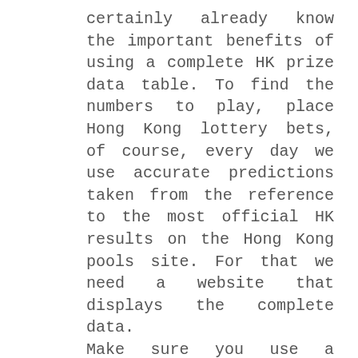certainly already know the important benefits of using a complete HK prize data table. To find the numbers to play, place Hong Kong lottery bets, of course, every day we use accurate predictions taken from the reference to the most official HK results on the Hong Kong pools site. For that we need a website that displays the complete data. Make sure you use a trusted HK output provider site because currently there are lots of fake websites that provide unofficial results. For that we recommend that you use our site as your reference because our site always takes official HK prize data from the Hong Kong Pools site which is the official Hong Kong lottery site. Toto HK players must have known about this official Hong Kong lottery site.
Play Hong Kong Togel directly with a Smartphone by